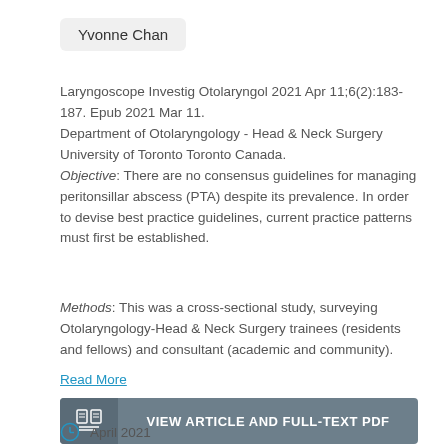Yvonne Chan
Laryngoscope Investig Otolaryngol 2021 Apr 11;6(2):183-187. Epub 2021 Mar 11. Department of Otolaryngology - Head & Neck Surgery University of Toronto Toronto Canada. Objective: There are no consensus guidelines for managing peritonsillar abscess (PTA) despite its prevalence. In order to devise best practice guidelines, current practice patterns must first be established.
Methods: This was a cross-sectional study, surveying Otolaryngology-Head & Neck Surgery trainees (residents and fellows) and consultant (academic and community).
Read More
VIEW ARTICLE AND FULL-TEXT PDF
April 2021